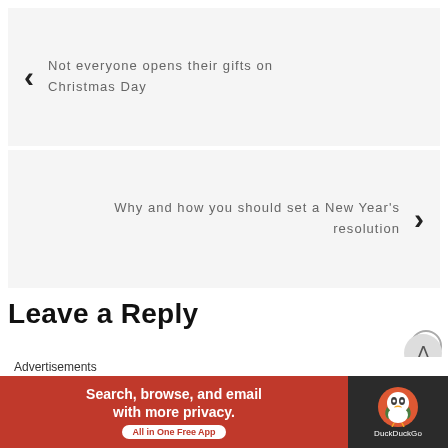‹ Not everyone opens their gifts on Christmas Day
Why and how you should set a New Year's resolution ›
Leave a Reply
Advertisements
[Figure (other): DuckDuckGo advertisement banner: 'Search, browse, and email with more privacy. All in One Free App' with DuckDuckGo logo on dark background]